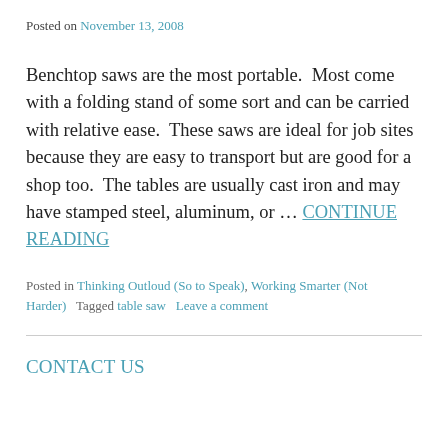Posted on November 13, 2008
Benchtop saws are the most portable.  Most come with a folding stand of some sort and can be carried with relative ease.  These saws are ideal for job sites because they are easy to transport but are good for a shop too.  The tables are usually cast iron and may have stamped steel, aluminum, or … CONTINUE READING
Posted in Thinking Outloud (So to Speak), Working Smarter (Not Harder)   Tagged table saw   Leave a comment
CONTACT US